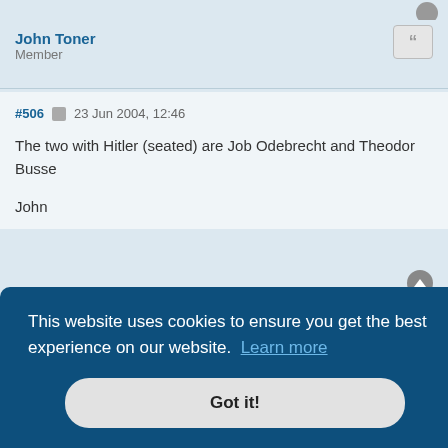John Toner
Member
#506  23 Jun 2004, 12:46
The two with Hitler (seated) are Job Odebrecht and Theodor Busse

John
K.Kocjancic
Member
This website uses cookies to ensure you get the best experience on our website. Learn more
Got it!